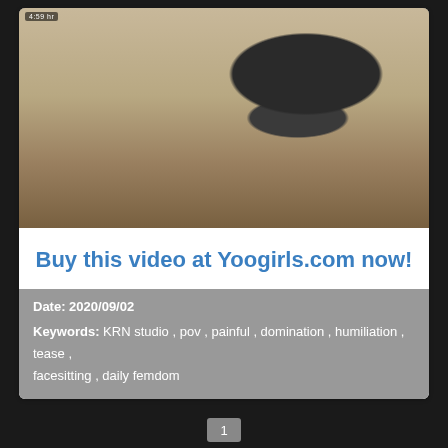[Figure (photo): Video thumbnail showing two people in a room with wooden furniture, a rug, and a couch. One person wearing black top and shorts standing over another person kneeling on the floor.]
Buy this video at Yoogirls.com now!
Date: 2020/09/02
Keywords:  KRN studio  ,  pov  ,  painful  ,  domination  ,  humiliation  ,  tease  ,  facesitting  ,  daily femdom
1